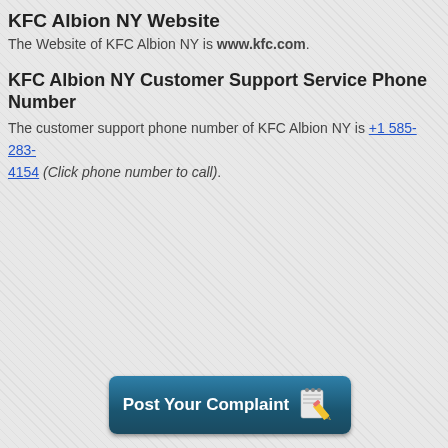KFC Albion NY Website
The Website of KFC Albion NY is www.kfc.com.
KFC Albion NY Customer Support Service Phone Number
The customer support phone number of KFC Albion NY is +1 585-283-4154 (Click phone number to call).
[Figure (other): A teal/dark-blue rounded button labeled 'Post Your Complaint' with a notepad and pencil icon on the right side.]